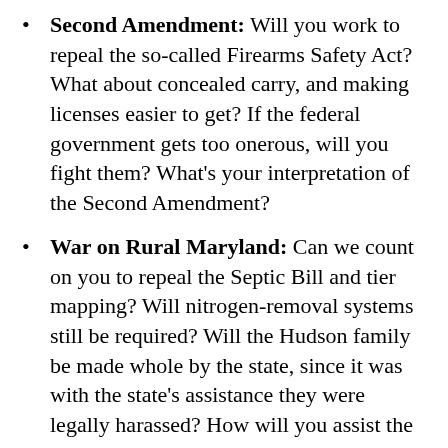Second Amendment: Will you work to repeal the so-called Firearms Safety Act? What about concealed carry, and making licenses easier to get? If the federal government gets too onerous, will you fight them? What's your interpretation of the Second Amendment?
War on Rural Maryland: Can we count on you to repeal the Septic Bill and tier mapping? Will nitrogen-removal systems still be required? Will the Hudson family be made whole by the state, since it was with the state's assistance they were legally harassed? How will you assist the poultry industry in the state and keep them here? What about cleaning up behind the